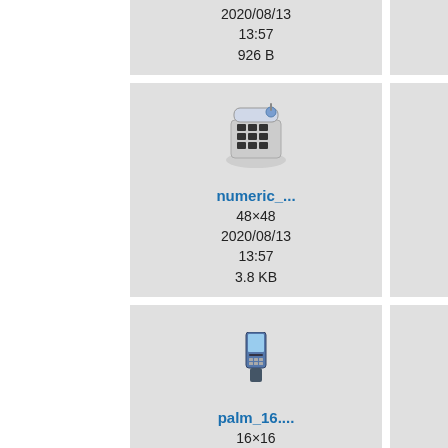[Figure (screenshot): File browser thumbnail grid showing numeric keypad and palm device icons with filenames, dimensions, dates, and file sizes]
2020/08/13 13:57 926 B
2020/08/13 13:57 1.5 KB
numeric_... 48×48 2020/08/13 13:57 3.8 KB
numeric_... 128×128 2020/08/13 13:57 15.7 KB
nu... 20...
palm_16.... 16×16 2020/08/13
palm_24.... 24×24 2020/08/13
pa... 20...